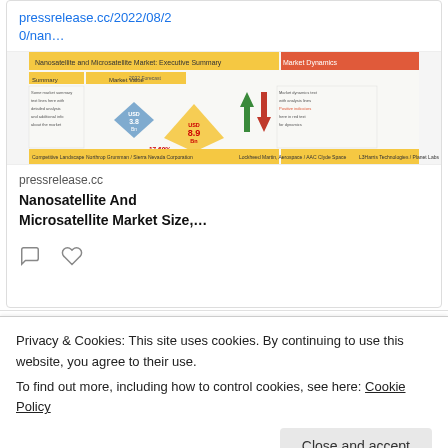pressrelease.cc/2022/08/20/nan…
[Figure (infographic): Nanosatellite and Microsatellite Market Executive Summary infographic showing market value diamonds, CAGR of 17.60%, 2022 forecast of USD 8.9 Bn, and competitor landscape]
pressrelease.cc
Nanosatellite And Microsatellite Market Size,…
Privacy & Cookies: This site uses cookies. By continuing to use this website, you agree to their use.
To find out more, including how to control cookies, see here: Cookie Policy
Close and accept
Jungkook's beloved car from BTS is